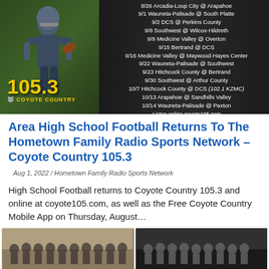[Figure (photo): Coyote Country 105.3 radio station football broadcast schedule advertisement with a football player on left and game schedule on right against dark background]
Area High School Football Returns To The Hometown Family Radio Sports Network – Coyote Country 105.3
Aug 1, 2022 / Hometown Family Radio Sports Network
High School Football returns to Coyote Country 105.3 and online at coyote105.com, as well as the Free Coyote Country Mobile App on Thursday, August…
[Figure (photo): Group photo of sports team players and coaches in gym]
[Figure (photo): Group photo of sports team players and coaches in gym]